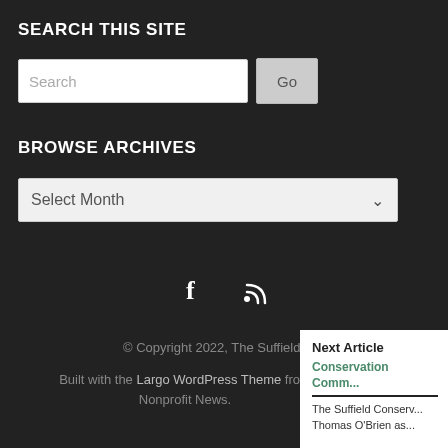SEARCH THIS SITE
[Figure (screenshot): Search input box with placeholder text 'Search' and a 'Go' button]
BROWSE ARCHIVES
[Figure (screenshot): Dropdown select element labeled 'Select Month' with a chevron arrow]
[Figure (infographic): Social media icons: Facebook (f) and RSS feed symbols in white on dark background]
© Copyright 2022, The Suffield O...
Built with the Largo WordPress Theme fro... Nonprofit News.
Next Article
Conservation Comm...
The Suffield Conserv... Thomas O'Brien as...